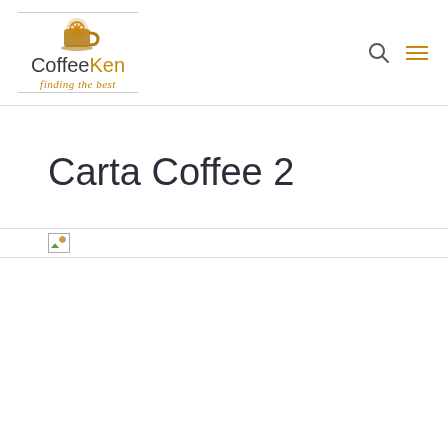CoffeeKen - finding the best
Carta Coffee 2
[Figure (other): Broken image placeholder icon with horizontal line, representing a failed image load for a Carta Coffee 2 article image]